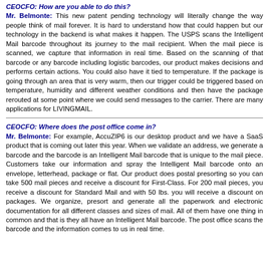CEOCFO: How are you able to do this? Mr. Belmonte: This new patent pending technology will literally change the way people think of mail forever. It is hard to understand how that could happen but our technology in the backend is what makes it happen. The USPS scans the Intelligent Mail barcode throughout its journey to the mail recipient. When the mail piece is scanned, we capture that information in real time. Based on the scanning of that barcode or any barcode including logistic barcodes, our product makes decisions and performs certain actions. You could also have it tied to temperature. If the package is going through an area that is very warm, then our trigger could be triggered based on temperature, humidity and different weather conditions and then have the package rerouted at some point where we could send messages to the carrier. There are many applications for LIVINGMAIL.
CEOCFO: Where does the post office come in? Mr. Belmonte: For example, AccuZIP6 is our desktop product and we have a SaaS product that is coming out later this year. When we validate an address, we generate a barcode and the barcode is an Intelligent Mail barcode that is unique to the mail piece. Customers take our information and spray the Intelligent Mail barcode onto an envelope, letterhead, package or flat. Our product does postal presorting so you can take 500 mail pieces and receive a discount for First-Class. For 200 mail pieces, you receive a discount for Standard Mail and with 50 lbs. you will receive a discount on packages. We organize, presort and generate all the paperwork and electronic documentation for all different classes and sizes of mail. All of them have one thing in common and that is they all have an Intelligent Mail barcode. The post office scans the barcode and the information comes to us in real time.